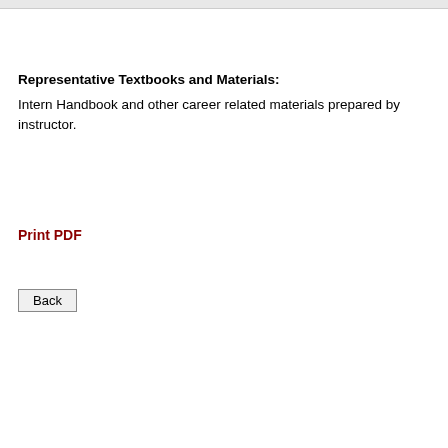Representative Textbooks and Materials:
Intern Handbook and other career related materials prepared by instructor.
Print PDF
Back